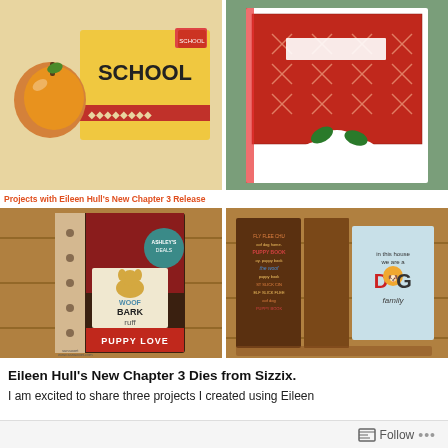[Figure (photo): Top-left photo: school-themed craft project with apple and yellow box labeled SCHOOL with red diamond border]
[Figure (photo): Top-right photo: Christmas card craft with red floral/snowflake patterned paper and white poinsettia flowers on green background]
Projects with Eileen Hull's New Chapter 3 Release
[Figure (photo): Bottom-left photo: dog-themed mini book with 'WOOF BARK RUFF' and 'PUPPY LOVE' text, paw print fabric, watermark sanaooet.com]
[Figure (photo): Bottom-right photo: open accordion-style mini book with dog-themed pages and 'we are a DOG family' card on brown wooden background]
Eileen Hull’s New Chapter 3 Dies from Sizzix.
I am excited to share three projects I created using Eileen